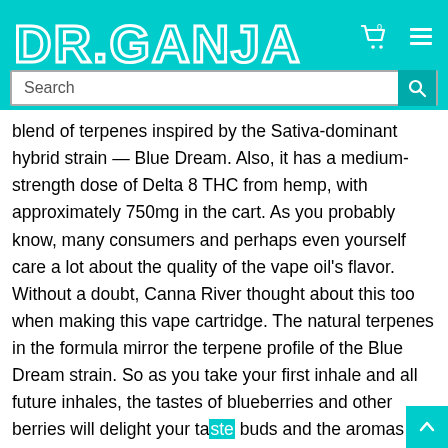[Figure (screenshot): DR.GANJA website header with teal/cyan background, logo text, cart icon, and hamburger menu icon]
[Figure (screenshot): Search bar with placeholder text 'Search' and a teal search button with magnifying glass icon]
blend of terpenes inspired by the Sativa-dominant hybrid strain — Blue Dream. Also, it has a medium-strength dose of Delta 8 THC from hemp, with approximately 750mg in the cart. As you probably know, many consumers and perhaps even yourself care a lot about the quality of the vape oil's flavor. Without a doubt, Canna River thought about this too when making this vape cartridge. The natural terpenes in the formula mirror the terpene profile of the Blue Dream strain. So as you take your first inhale and all future inhales, the tastes of blueberries and other berries will delight your taste buds and the aromas from these flavors will fill the room.